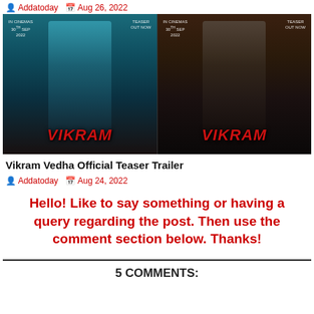Addatoday  Aug 26, 2022
[Figure (photo): Movie promotional poster for Vikram Vedha showing two actors (Hrithik Roshan on left in teal background, Saif Ali Khan on right in dark background), both with VIKRAM text in red at bottom. Text overlays: IN CINEMAS 30TH SEP 2022, TEASER OUT NOW.]
Vikram Vedha Official Teaser Trailer
Addatoday  Aug 24, 2022
Hello! Like to say something or having a query regarding the post. Then use the comment section below. Thanks!
5 COMMENTS: